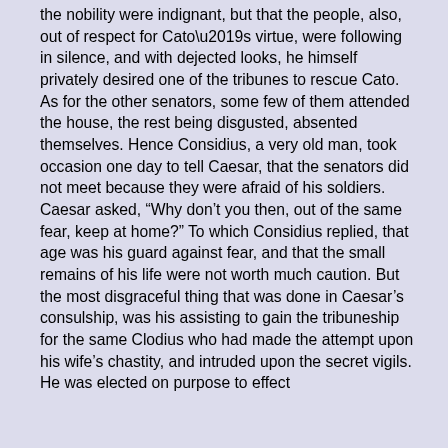the nobility were indignant, but that the people, also, out of respect for Cato's virtue, were following in silence, and with dejected looks, he himself privately desired one of the tribunes to rescue Cato. As for the other senators, some few of them attended the house, the rest being disgusted, absented themselves. Hence Considius, a very old man, took occasion one day to tell Caesar, that the senators did not meet because they were afraid of his soldiers. Caesar asked, “Why don’t you then, out of the same fear, keep at home?” To which Considius replied, that age was his guard against fear, and that the small remains of his life were not worth much caution. But the most disgraceful thing that was done in Caesar’s consulship, was his assisting to gain the tribuneship for the same Clodius who had made the attempt upon his wife’s chastity, and intruded upon the secret vigils. He was elected on purpose to effect